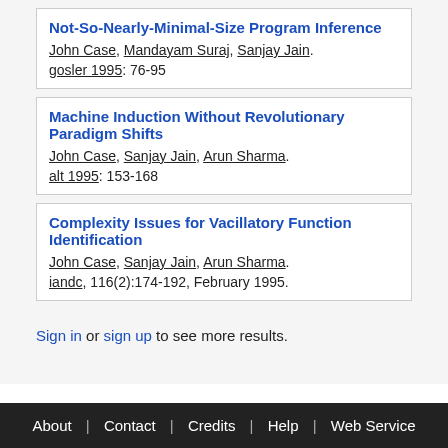Not-So-Nearly-Minimal-Size Program Inference
John Case, Mandayam Suraj, Sanjay Jain.
gosler 1995: 76-95
Machine Induction Without Revolutionary Paradigm Shifts
John Case, Sanjay Jain, Arun Sharma.
alt 1995: 153-168
Complexity Issues for Vacillatory Function Identification
John Case, Sanjay Jain, Arun Sharma.
iandc, 116(2):174-192, February 1995.
Sign in or sign up to see more results.
About | Contact | Credits | Help | Web Service